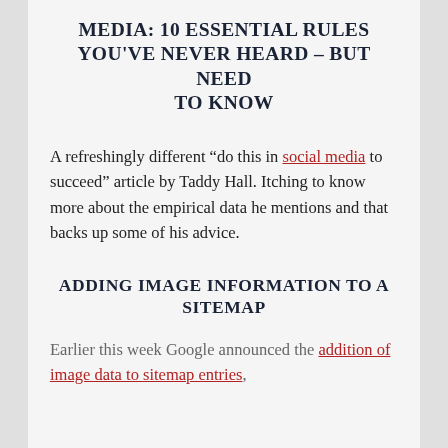MEDIA: 10 ESSENTIAL RULES YOU'VE NEVER HEARD – BUT NEED TO KNOW
A refreshingly different “do this in social media to succeed” article by Taddy Hall. Itching to know more about the empirical data he mentions and that backs up some of his advice.
ADDING IMAGE INFORMATION TO A SITEMAP
Earlier this week Google announced the addition of image data to sitemap entries,